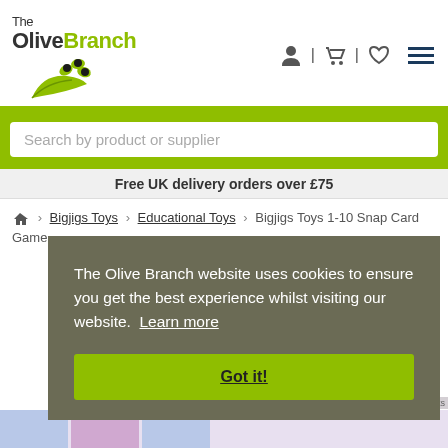The Olive Branch
Search by product or supplier
Free UK delivery orders over £75
Home › Bigjigs Toys › Educational Toys › Bigjigs Toys 1-10 Snap Card Game
The Olive Branch website uses cookies to ensure you get the best experience whilst visiting our website. Learn more
Got it!